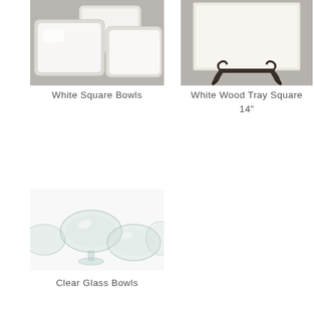[Figure (photo): White square ceramic bowls on gray background]
White Square Bowls
[Figure (photo): White wood tray square on a decorative metal stand, gray background]
White Wood Tray Square 14"
[Figure (photo): Clear glass bowls of various shapes on white background]
Clear Glass Bowls